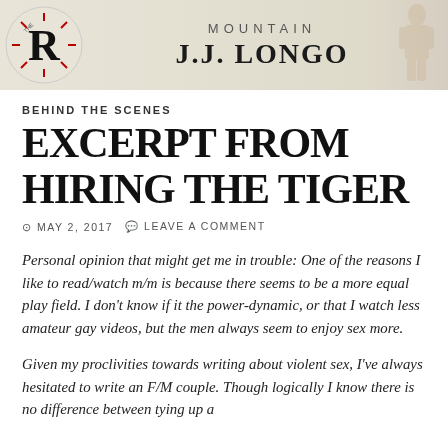[Figure (illustration): Blog header banner with a circular logo featuring a stylized 'R' letter mark on the left, and text 'MOUNTAIN J.J. LONGO' centered to the right on a beige/cream background with a faint figure image on the far right.]
BEHIND THE SCENES
EXCERPT FROM HIRING THE TIGER
MAY 2, 2017   LEAVE A COMMENT
Personal opinion that might get me in trouble: One of the reasons I like to read/watch m/m is because there seems to be a more equal play field. I don't know if it the power-dynamic, or that I watch less amateur gay videos, but the men always seem to enjoy sex more.
Given my proclivities towards writing about violent sex, I've always hesitated to write an F/M couple. Though logically I know there is no difference between tying up a